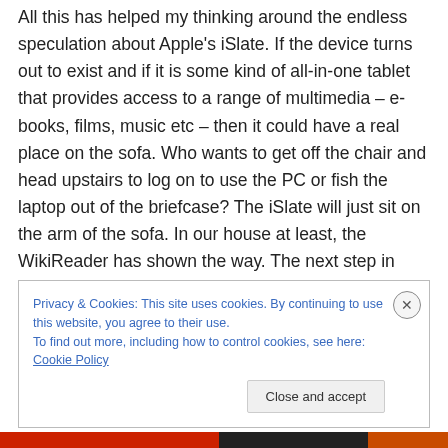All this has helped my thinking around the endless speculation about Apple's iSlate. If the device turns out to exist and if it is some kind of all-in-one tablet that provides access to a range of multimedia – e-books, films, music etc – then it could have a real place on the sofa. Who wants to get off the chair and head upstairs to log on to use the PC or fish the laptop out of the briefcase? The iSlate will just sit on the arm of the sofa. In our house at least, the WikiReader has shown the way. The next step in computing is to the sofa.
Privacy & Cookies: This site uses cookies. By continuing to use this website, you agree to their use.
To find out more, including how to control cookies, see here: Cookie Policy